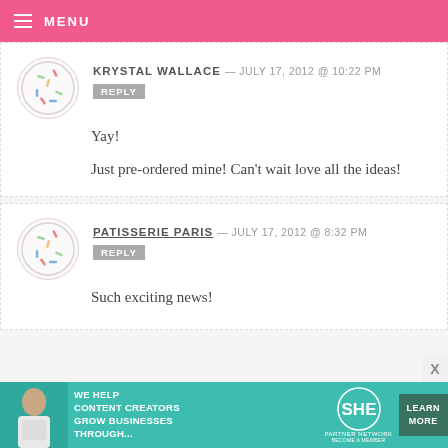MENU
KRYSTAL WALLACE — JULY 17, 2012 @ 10:22 PM
REPLY

Yay!

Just pre-ordered mine! Can't wait love all the ideas!
PATISSERIE PARIS — JULY 17, 2012 @ 8:32 PM
REPLY

Such exciting news!
[Figure (infographic): SHE Media advertisement banner: 'We Help Content Creators Grow Businesses Through...' with SHE Partner Network logo and 'Learn More' button]